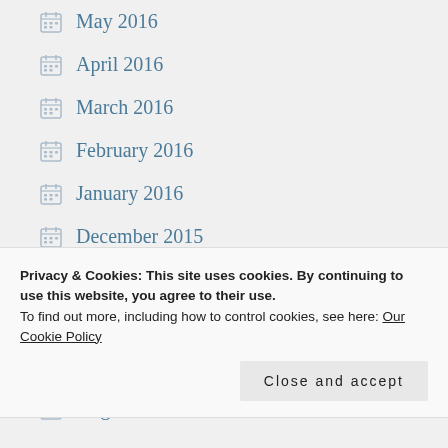May 2016
April 2016
March 2016
February 2016
January 2016
December 2015
November 2015
October 2015
September 2015
August 2015
Privacy & Cookies: This site uses cookies. By continuing to use this website, you agree to their use.
To find out more, including how to control cookies, see here: Our Cookie Policy
Close and accept